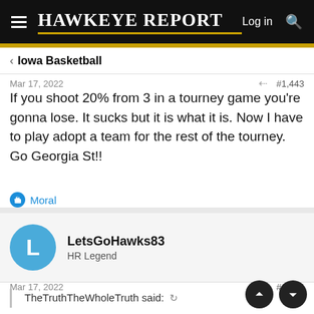Hawkeye Report | Log in
Iowa Basketball
Mar 17, 2022  #1,443
If you shoot 20% from 3 in a tourney game you're gonna lose. It sucks but it is what it is. Now I have to play adopt a team for the rest of the tourney. Go Georgia St!!
Moral
LetsGoHawks83
HR Legend
Mar 17, 2022  #1,444
TheTruthTheWholeTruth said: